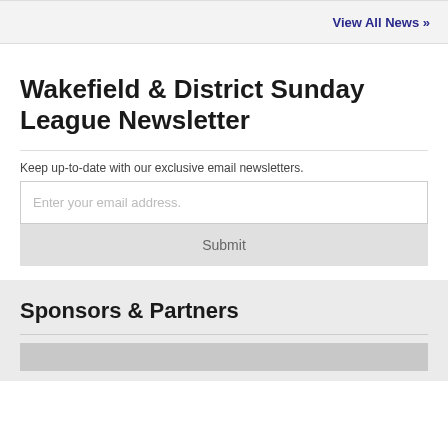View All News »
Wakefield & District Sunday League Newsletter
Keep up-to-date with our exclusive email newsletters.
Enter your email address.
Submit
Sponsors & Partners